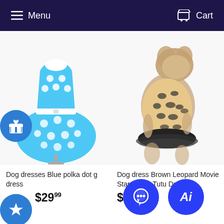Menu  Cart
[Figure (photo): Blue polka dot dog dress on a mannequin stand]
[Figure (photo): Small dog wearing a brown leopard velvet tutu dress]
Dog dresses Blue polka dot g dress
$29.99
Dog dress Brown Leopard Movie Star Velvet Tutu Dress
$29.99